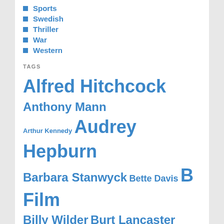Sports
Swedish
Thriller
War
Western
TAGS
Alfred Hitchcock Anthony Mann Arthur Kennedy Audrey Hepburn Barbara Stanwyck Bette Davis B Film Billy Wilder Burt Lancaster Buster Keaton Cary Grant Catherine Deneuve Charlie Chaplin Christmas Clark Gable Claude Rains Courtroom Dana Andrews Dick Powell Edward Everett Horton Edward G. Robinson Elia Kazan Epic Ernst Lubitsch Eugene Pallette Femme Fatale